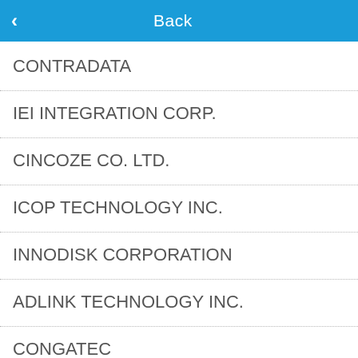Back
CONTRADATA
IEI INTEGRATION CORP.
CINCOZE CO. LTD.
ICOP TECHNOLOGY INC.
INNODISK CORPORATION
ADLINK TECHNOLOGY INC.
CONGATEC
DFI INC.
o tecnologie , anche per . Il rifiuto del funzioni. amite il di questa l di fuori di altro modo. ccettare.
ccetta
a
[Figure (photo): Circuit board / PCB photo in bottom right corner]